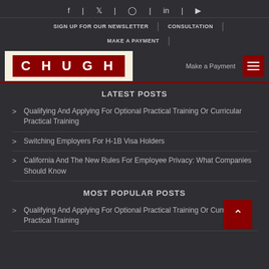Social icons: f | Twitter | Instagram | in | YouTube
SIGN UP FOR OUR NEWSLETTER | CONSULTATION
MAKE A PAYMENT
[Figure (logo): CHUGH law firm logo - white letters on dark red background inside a cream border]
Make a Payment
LATEST POSTS
Qualifying And Applying For Optional Practical Training Or Curricular Practical Training
Switching Employers For H-1B Visa Holders
California And The New Rules For Employee Privacy: What Companies Should Know
MOST POPULAR POSTS
Qualifying And Applying For Optional Practical Training Or Curricular Practical Training